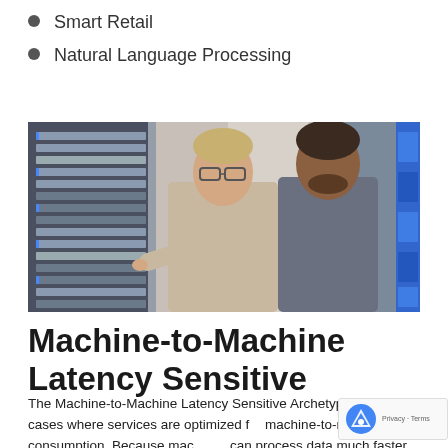Smart Retail
Natural Language Processing
[Figure (photo): Two men in a server room, one pointing at server rack equipment while both examine it closely.]
Machine-to-Machine Latency Sensitive
The Machine-to-Machine Latency Sensitive Archetype covers use cases where services are optimized for machine-to-machine consumption. Because machines can process data much faster than humans, speed is